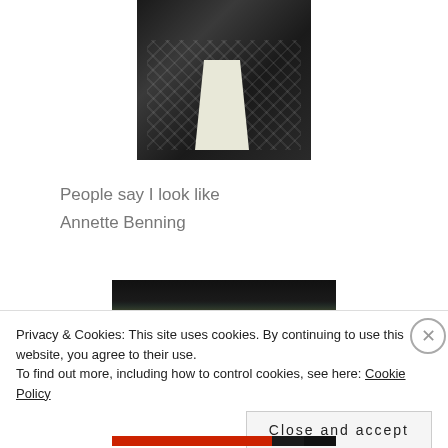[Figure (photo): Photo of a woman wearing a black and white plaid/checked jacket with a white shirt or blouse underneath, necklace visible, partial face and upper body visible]
People say I look like
Annette Benning
[Figure (photo): Partial photo showing a woman with dark hair, skin tone visible, green background, partially obscured by cookie consent banner]
Privacy & Cookies: This site uses cookies. By continuing to use this website, you agree to their use. To find out more, including how to control cookies, see here: Cookie Policy
Close and accept